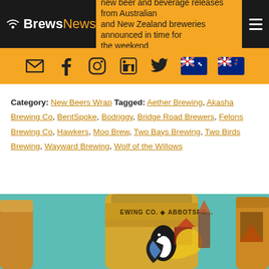BrewsNews — new beer and beverage releases from Australian and New Zealand breweries announced in time for the weekend
Category: New Beers Wrap Tagged: Aether Brewing, Akasha Brewing Co, BentSpoke, Bodriggy, Bridge Road Brewers, Felons Brewing Co, Hawkers, Moo Brew, Two Bays Brewing, Two Birds Brewing, Wayward Brewing, Wolf of the Willows
[Figure (photo): Gold beer can with illustrated toucan and colorful design labeled EWING CO. ABBOTSFO... on teal background]